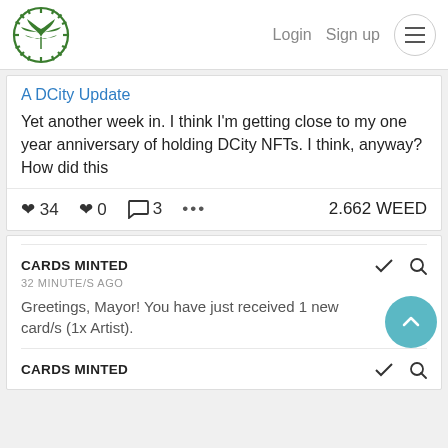Login  Sign up
A DCity Update
Yet another week in. I think I'm getting close to my one year anniversary of holding DCity NFTs. I think, anyway? How did this
♥ 34   ♥ 0   💬 3   •••   2.662 WEED
CARDS MINTED
32 MINUTE/S AGO
Greetings, Mayor! You have just received 1 new card/s (1x Artist).
CARDS MINTED